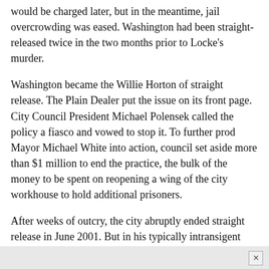would be charged later, but in the meantime, jail overcrowding was eased. Washington had been straight-released twice in the two months prior to Locke's murder.
Washington became the Willie Horton of straight release. The Plain Dealer put the issue on its front page. City Council President Michael Polensek called the policy a fiasco and vowed to stop it. To further prod Mayor Michael White into action, council set aside more than $1 million to end the practice, the bulk of the money to be spent on reopening a wing of the city workhouse to hold additional prisoners.
After weeks of outcry, the city abruptly ended straight release in June 2001. But in his typically intransigent fashion, White didn't make use of the money council set aside to ease the burden, says Polensek. It was almost done out of spite, to create a problem with the county. (Della